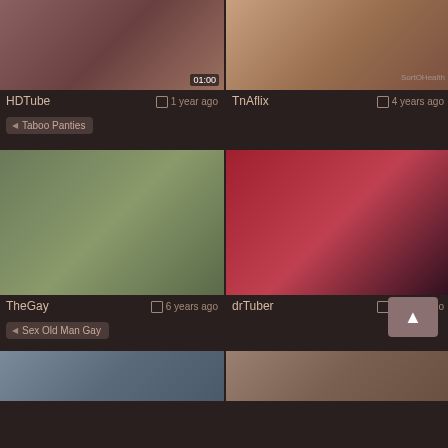[Figure (screenshot): Video thumbnail grid showing adult video website interface with thumbnails, site names, dates, and category tags]
HDTube  1 year ago
TnAflix  4 years ago
Taboo Panties
TheGay  6 years ago
drTuber  4 years ago
Sex Old Man Gay